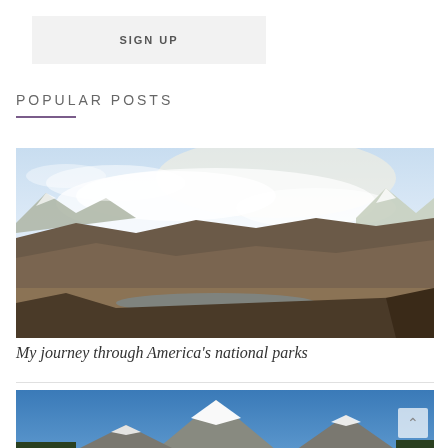SIGN UP
POPULAR POSTS
[Figure (photo): Panoramic landscape photo of America's national parks showing mountain ranges, valleys, a river, and dramatic sky with clouds]
My journey through America's national parks
[Figure (photo): Photo of snow-capped mountain peaks against a blue sky]